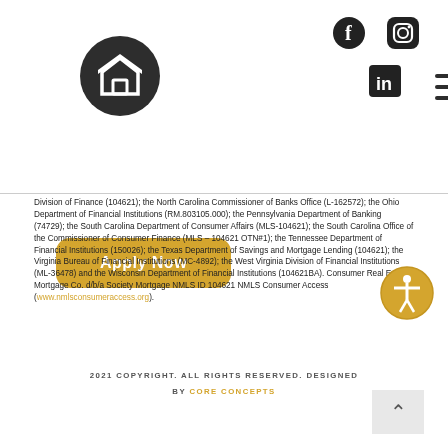[Figure (logo): Dark circular logo with stylized 'S' or home icon in white on dark background]
[Figure (infographic): Hamburger menu icon (three horizontal lines)]
[Figure (logo): Facebook icon (social media logo)]
[Figure (logo): Instagram icon (social media logo)]
[Figure (logo): LinkedIn icon (social media logo)]
Apply Now
Division of Finance (104621); the North Carolina Commissioner of Banks Office (L-162572); the Ohio Department of Financial Institutions (RM.803105.000); the Pennsylvania Department of Banking (74729); the South Carolina Department of Consumer Affairs (MLS-104621); the South Carolina Office of the Commissioner of Consumer Finance (MLS – 104621 OTN#1); the Tennessee Department of Financial Institutions (150026); the Texas Department of Savings and Mortgage Lending (104621); the Virginia Bureau of Financial Institutions (MC-4892); the West Virginia Division of Financial Institutions (ML-36478) and the Wisconsin Department of Financial Institutions (104621BA). Consumer Real Estate Mortgage Co. d/b/a Society Mortgage NMLS ID 104621 NMLS Consumer Access (www.nmlsconsumeraccess.org).
2021 COPYRIGHT. ALL RIGHTS RESERVED. DESIGNED BY CORE CONCEPTS